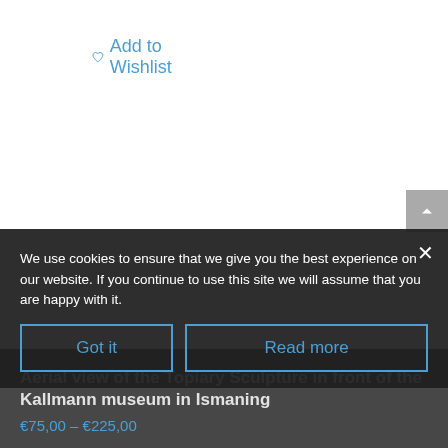♡ Add to Wishlist
Aerial view of the Topiary Sculpture in front of the Kallmann museum in Ismaning
€75,00 – €225,00
We use cookies to ensure that we give you the best experience on our website. If you continue to use this site we will assume that you are happy with it.
Got it
Read more